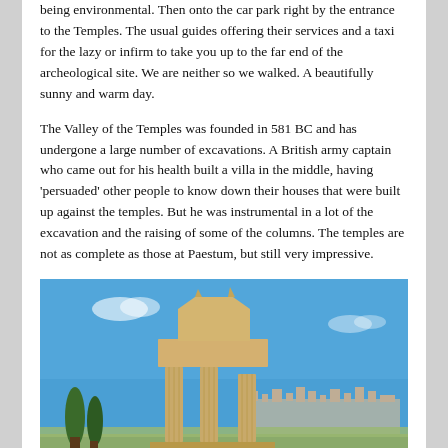being environmental.  Then onto the car park right by the entrance to the Temples.  The usual guides offering their services and a taxi for the lazy or infirm to take you up to the far end of the archeological site.  We are neither so we walked.  A beautifully sunny and warm day.
The Valley of the Temples was founded in 581 BC and has undergone a large number of excavations.  A British army captain who came out for his health built a villa in the middle, having 'persuaded' other people to know down their houses that were built up against the temples.  But he was instrumental in a lot of the excavation and the raising of some of the columns.  The temples are not as complete as those at Paestum, but still very impressive.
[Figure (photo): Photograph of ancient Greek temple ruins at the Valley of the Temples, showing stone columns and entablature fragments against a bright blue sky, with cypress trees and a town visible in the background.]